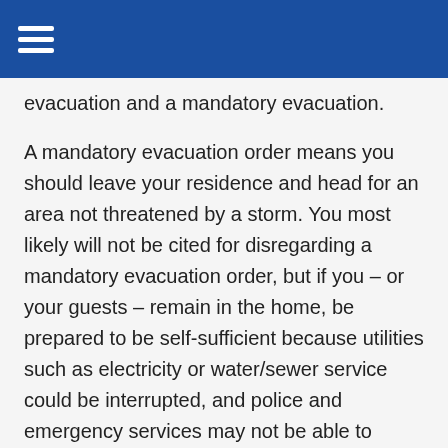evacuation and a mandatory evacuation.
A mandatory evacuation order means you should leave your residence and head for an area not threatened by a storm. You most likely will not be cited for disregarding a mandatory evacuation order, but if you – or your guests – remain in the home, be prepared to be self-sufficient because utilities such as electricity or water/sewer service could be interrupted, and police and emergency services may not be able to respond as quickly as usual.
Prior to the storm's arrival it is also imperative to take an accurate inventory of items inside of your property in case anything goes missing or is damaged or destroyed by the hurricane.